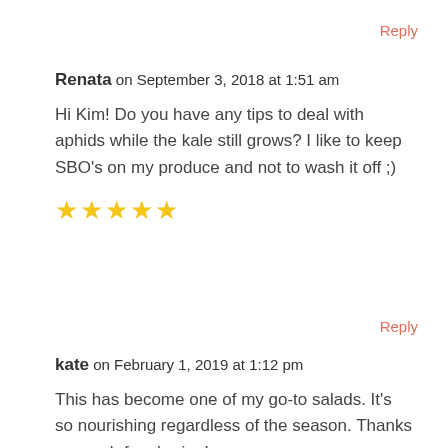Reply
Renata on September 3, 2018 at 1:51 am
Hi Kim! Do you have any tips to deal with aphids while the kale still grows? I like to keep SBO’s on my produce and not to wash it off ;)
[Figure (other): Five gold star rating icons]
Reply
kate on February 1, 2019 at 1:12 pm
This has become one of my go-to salads. It’s so nourishing regardless of the season. Thanks so much for sharing!